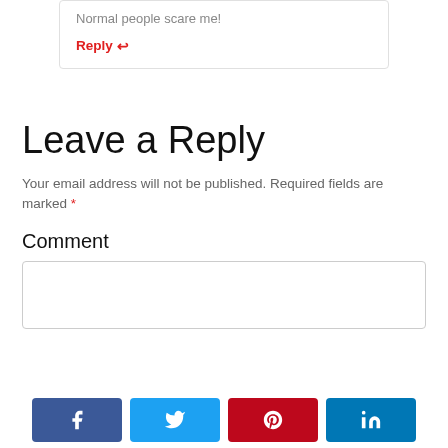Normal people scare me!
Reply ↩
Leave a Reply
Your email address will not be published. Required fields are marked *
Comment
[Figure (infographic): Social share buttons: Facebook, Twitter, Pinterest, LinkedIn]